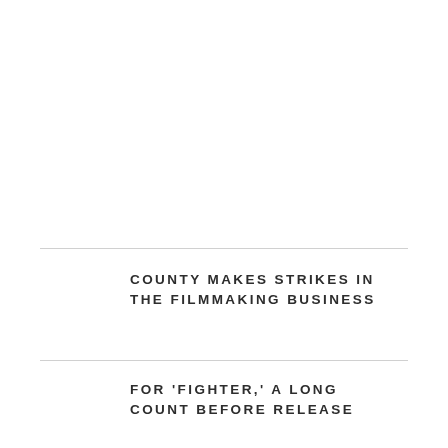COUNTY MAKES STRIKES IN THE FILMMAKING BUSINESS
FOR 'FIGHTER,' A LONG COUNT BEFORE RELEASE